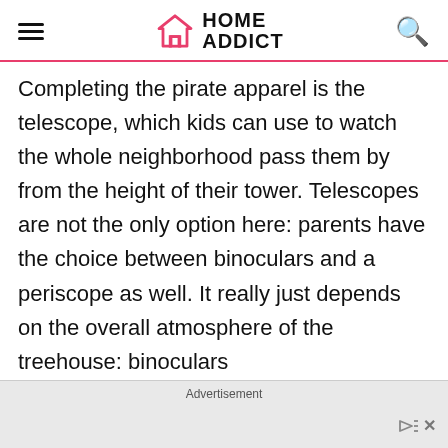HOME ADDICT
Completing the pirate apparel is the telescope, which kids can use to watch the whole neighborhood pass them by from the height of their tower. Telescopes are not the only option here: parents have the choice between binoculars and a periscope as well. It really just depends on the overall atmosphere of the treehouse: binoculars
Advertisement